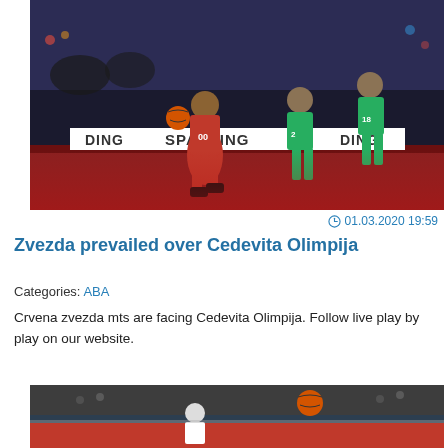[Figure (photo): Basketball game action shot: player in red uniform (number 00) dribbling against two players in green uniforms, Spalding advertising visible on court sideline]
01.03.2020 19:59
Zvezda prevailed over Cedevita Olimpija
Categories: ABA
Crvena zvezda mts are facing Cedevita Olimpija. Follow live play by play on our website.
[Figure (photo): Basketball game action shot: player in white/red uniform reaching for basketball with crowd in background]